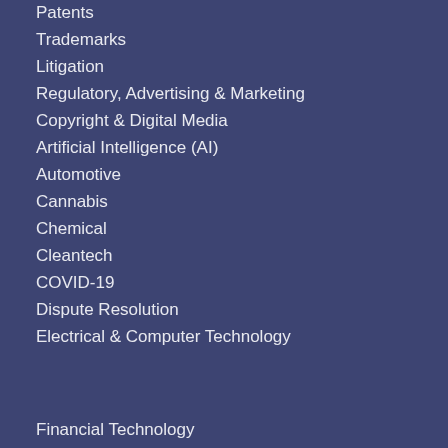Patents
Trademarks
Litigation
Regulatory, Advertising & Marketing
Copyright & Digital Media
Artificial Intelligence (AI)
Automotive
Cannabis
Chemical
Cleantech
COVID-19
Dispute Resolution
Electrical & Computer Technology
Financial Technology